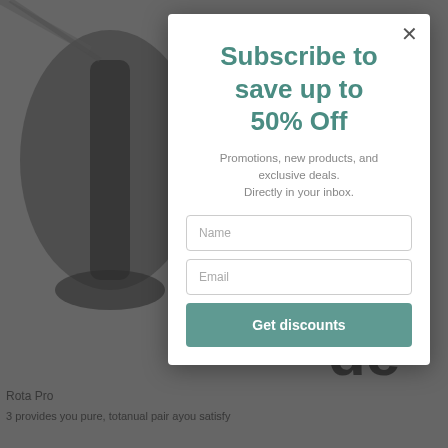[Figure (screenshot): Dark blurred background showing product image with black pendant light and partial text 'nal' and 'de' visible on right side. Bottom shows partial text 'Rota... Pro' and '3 provides you pure, totanual pair ayou satisfy']
Subscribe to save up to 50% Off
Promotions, new products, and exclusive deals. Directly in your inbox.
Name
Email
Get discounts